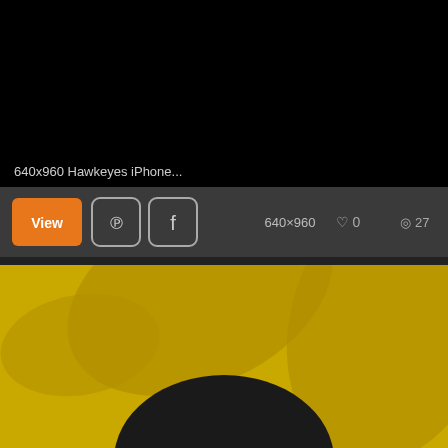[Figure (screenshot): Black image area representing a wallpaper preview (640x960 Hawkeyes iPhone wallpaper), mostly black]
640x960 Hawkeyes iPhone...
[Figure (screenshot): Toolbar with View button (orange), Pinterest icon button, Facebook icon button, dimensions '640×960', heart icon with '0', eye icon with '27']
[Figure (illustration): Yellow/gold background with stylized hawk/bird shapes in darker gold and a black semicircle at the bottom, partial view of Hawkeyes wallpaper]